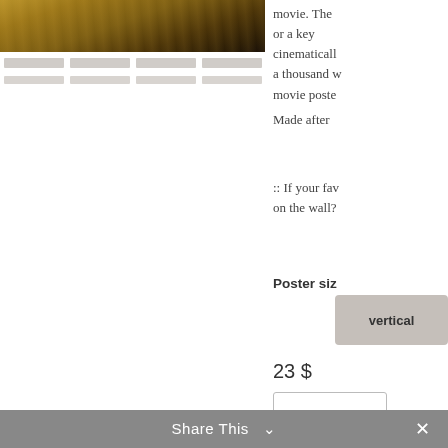[Figure (photo): Top portion of a product image showing a wooden textured surface, likely a movie poster print]
[Figure (other): Four thumbnail image placeholders shown as grey placeholder lines in a grid layout]
movie. The or a key cinematically a thousand w movie poste
Made after
:: If your fav on the wall?
Poster siz
vertical
23 $
1
Share This  ✕